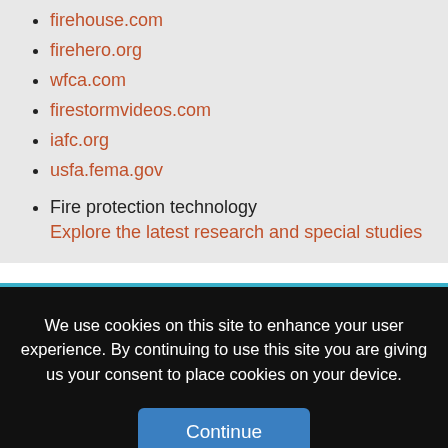firehouse.com
firehero.org
wfca.com
firestormvideos.com
iafc.org
usfa.fema.gov
Fire protection technology
Explore the latest research and special studies
We use cookies on this site to enhance your user experience. By continuing to use this site you are giving us your consent to place cookies on your device.
Continue
Give me more information